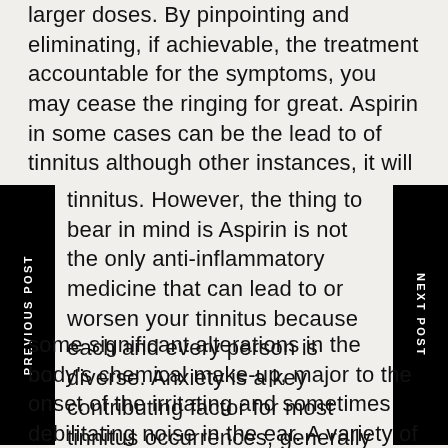larger doses. By pinpointing and eliminating, if achievable, the treatment accountable for the symptoms, you may cease the ringing for great. Aspirin in some cases can be the lead to of tinnitus although other instances, it will worsen tinnitus. However, the thing to bear in mind is Aspirin is not the only anti-inflammatory medicine that can lead to or worsen your tinnitus because each and every person is diverse. Anxiety is a key contributing factor for most tinnitus occurrences, generally caused by overwork or consistent publicity to loud music or noise. Most doctors agree that demanding conditions lead to some significant alterations in the body's chemical make-up, major to the onset of the irritating and sometimes debilitating noise in the ear. A variety of tinnitus remedies can be found beneath. If you require to understand a lot more please look at